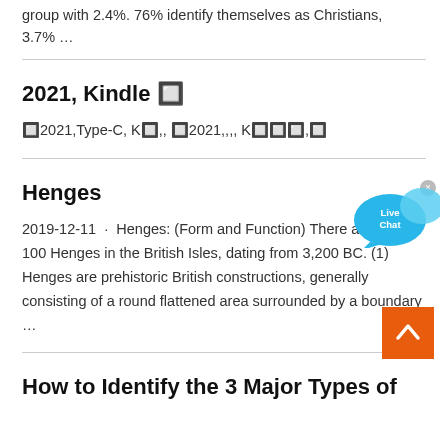group with 2.4%. 76% identify themselves as Christians, 3.7% …
2021, Kindle 🔲
🔲2021,Type-C, K🔲,, 🔲2021,,,, K🔲🔲🔲,🔲
Henges
2019-12-11 · Henges: (Form and Function) There are around 100 Henges in the British Isles, dating from 3,200 BC. (1) Henges are prehistoric British constructions, generally consisting of a round flattened area surrounded by a boundary …
How to Identify the 3 Major Types of